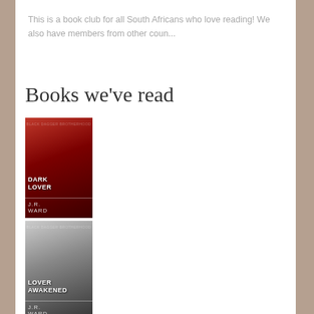This is a book club for all South Africans who love reading! We also have members from other coun...
Books we've read
[Figure (photo): Book cover: Dark Lover by J.R. Ward, red cover]
[Figure (photo): Book cover: Lover Awakened by J.R. Ward, gray/dark cover]
[Figure (photo): Book cover: Lover Eternal by J.R. Ward, blue cover]
[Figure (photo): Book cover: Lover Revealed by J.R. Ward, orange/brown cover]